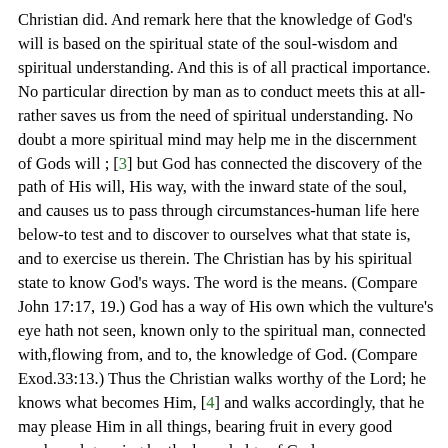Christian did. And remark here that the knowledge of God's will is based on the spiritual state of the soul-wisdom and spiritual understanding. And this is of all practical importance. No particular direction by man as to conduct meets this at all-rather saves us from the need of spiritual understanding. No doubt a more spiritual mind may help me in the discernment of Gods will ; [3] but God has connected the discovery of the path of His will, His way, with the inward state of the soul, and causes us to pass through circumstances-human life here below-to test and to discover to ourselves what that state is, and to exercise us therein. The Christian has by his spiritual state to know God's ways. The word is the means. (Compare John 17:17, 19.) God has a way of His own which the vulture's eye hath not seen, known only to the spiritual man, connected with,flowing from, and to, the knowledge of God. (Compare Exod.33:13.) Thus the Christian walks worthy of the Lord; he knows what becomes Him, [4] and walks accordingly, that he may please Him in all things, bearing fruit in every good work, and growing by the knowledge of God.
It was not then only the character of life: this life was productive; it bore fruit, and, as life grew up, by increasing knowledge of God. But this connection with God brings in another very precious consideration. Besides the character and the living energy which are in relationship with this knowledge, the strength of the Lord [5] is developed in it also. They draw strength from Him. He gives it